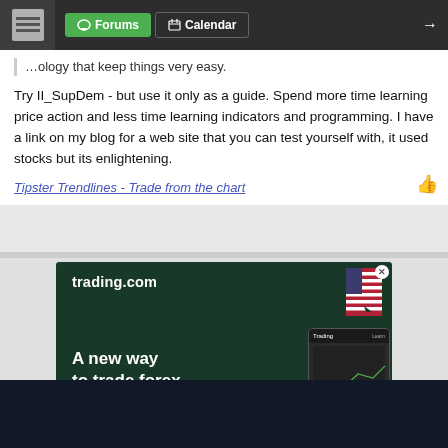Forums  Calendar
...ology that keep things very easy.
Try II_SupDem - but use it only as a guide. Spend more time learning price action and less time learning indicators and programming. I have a link on my blog for a web site that you can test yourself with, it used stocks but its enlightening.
Tipster Trendlines - Trade from the chart
[Figure (infographic): trading.com advertisement banner: dark green background with text 'trading.com', 'A new way to trade forex. Now live in the US!' with US flag and phone mockup showing trading interface]
1  ←  8  Page 9  10  →  14
[Figure (infographic): trading.com bottom advertisement bar: 'A new way to trade forex in the US!' with OPEN ACCOUNT button and US flag. Fine print: Forex trading involves risk. Losses can exceed deposits.]